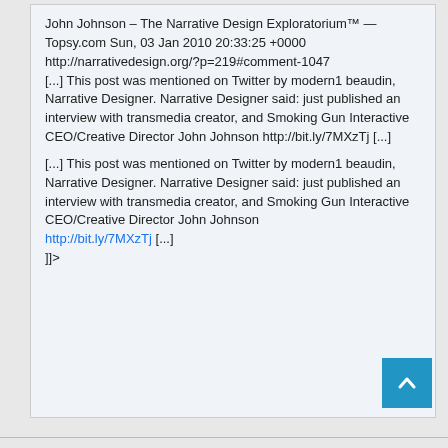John Johnson – The Narrative Design Exploratorium™ — Topsy.com Sun, 03 Jan 2010 20:33:25 +0000 http://narrativedesign.org/?p=219#comment-1047 [...] This post was mentioned on Twitter by modern1 beaudin, Narrative Designer. Narrative Designer said: just published an interview with transmedia creator, and Smoking Gun Interactive CEO/Creative Director John Johnson http://bit.ly/7MXzTj [...] [...] This post was mentioned on Twitter by modern1 beaudin, Narrative Designer. Narrative Designer said: just published an interview with transmedia creator, and Smoking Gun Interactive CEO/Creative Director John Johnson http://bit.ly/7MXzTj [...] ]]>